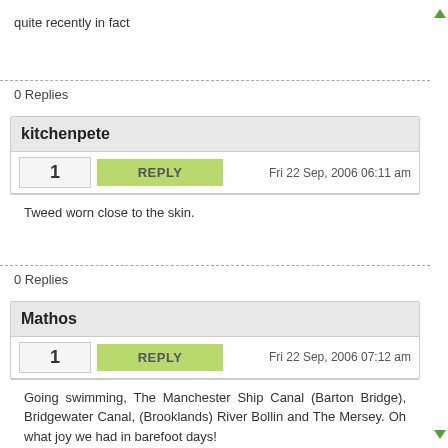quite recently in fact
0 Replies
kitchenpete
1  REPLY  Fri 22 Sep, 2006 06:11 am
Tweed worn close to the skin.
0 Replies
Mathos
1  REPLY  Fri 22 Sep, 2006 07:12 am
Going swimming, The Manchester Ship Canal (Barton Bridge), Bridgewater Canal, (Brooklands) River Bollin and The Mersey. Oh what joy we had in barefoot days!